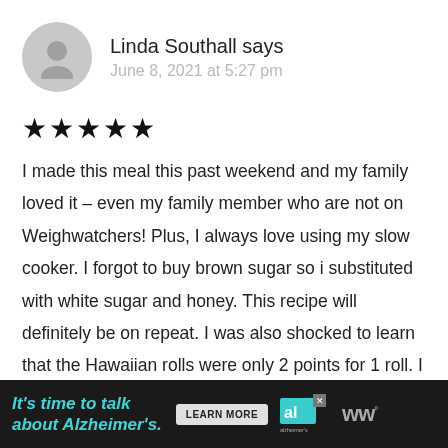Linda Southall says
June 8, 2021 at 5:27 pm
★★★★★
I made this meal this past weekend and my family loved it – even my family member who are not on Weighwatchers! Plus, I always love using my slow cooker. I forgot to buy brown sugar so i substituted with white sugar and honey. This recipe will definitely be on repeat. I was also shocked to learn that the Hawaiian rolls were only 2 points for 1 roll. I just served them as an open face sandwich with the pork
[Figure (infographic): Advertisement banner: 'It's time to talk about Alzheimer's.' with a Learn More button, Alzheimer's Association logo, and WW logo on dark background]